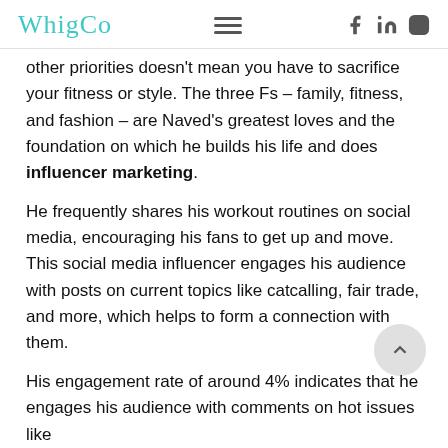WhigCo — navigation bar with logo, hamburger menu, Facebook, LinkedIn, Instagram icons
other priorities doesn't mean you have to sacrifice your fitness or style. The three Fs – family, fitness, and fashion – are Naved's greatest loves and the foundation on which he builds his life and does influencer marketing.
He frequently shares his workout routines on social media, encouraging his fans to get up and move. This social media influencer engages his audience with posts on current topics like catcalling, fair trade, and more, which helps to form a connection with them.
His engagement rate of around 4% indicates that he engages his audience with comments on hot issues like